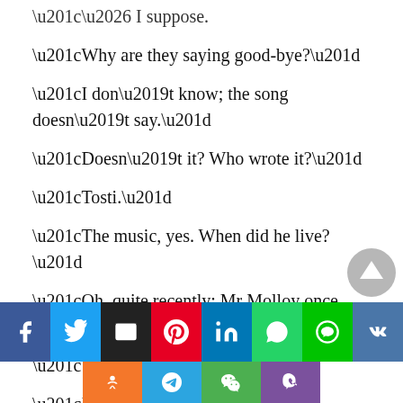“… I suppose.
“Why are they saying good-bye?”
“I don’t know; the song doesn’t say.”
“Doesn’t it? Who wrote it?”
“Tosti.”
“The music, yes. When did he live?”
“Oh, quite recently; Mr Molloy once saw him.”
“Who wrote the words?”
“I — I don’t know.”
[Figure (infographic): Social media sharing buttons row 1: Facebook, Twitter, Email, Pinterest, LinkedIn, WhatsApp, Line, VK. Row 2: Odnoklassniki, Telegram, WeChat, Viber. Scroll-up button at bottom right.]